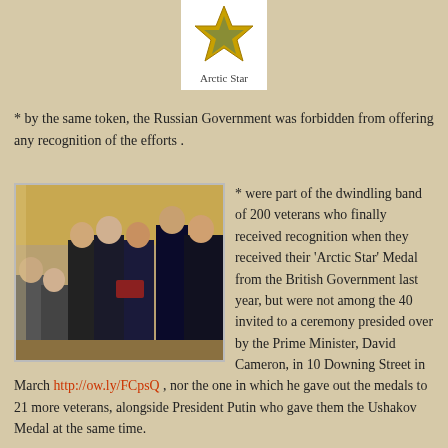[Figure (illustration): Arctic Star medal logo — a gold star above a white box with the text 'Arctic Star']
* by the same token, the Russian Government was forbidden from offering any recognition of the efforts .
[Figure (photo): Photo of a ceremony where men in suits (including David Cameron) present medals to elderly veterans, with naval officers in the background.]
* were part of the dwindling band of 200 veterans who finally received recognition when they received their 'Arctic Star' Medal from the British Government last year, but were not among the 40 invited to a ceremony presided over by the Prime Minister, David Cameron, in 10 Downing Street in March http://ow.ly/FCpsQ , nor the one in which he gave out the medals to 21 more veterans, alongside President Putin who gave them the Ushakov Medal at the same time.